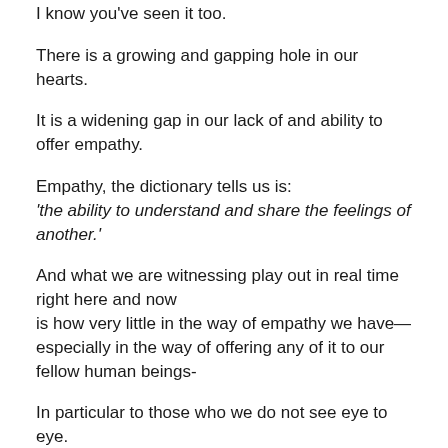I know you've seen it too.
There is a growing and gapping hole in our hearts.
It is a widening gap in our lack of and ability to offer empathy.
Empathy, the dictionary tells us is:
‘the ability to understand and share the feelings of another.’
And what we are witnessing play out in real time right here and now
is how very little in the way of empathy we have—especially in the way of offering any of it to our fellow human beings-
In particular to those who we do not see eye to eye.